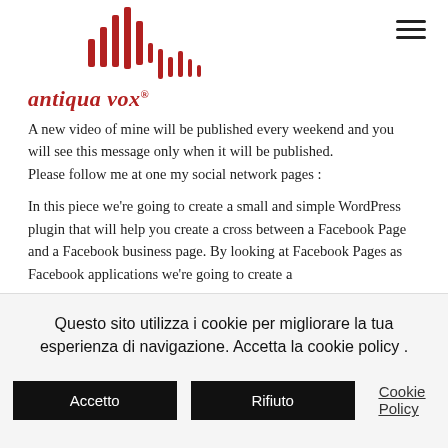[Figure (logo): Antiqua Vox logo with red audio waveform bars above the italic red text 'antiqua vox®']
A new video of mine will be published every weekend and you will see this message only when it will be published.
Please follow me at one my social network pages :
In this piece we're going to create a small and simple WordPress plugin that will help you create a cross between a Facebook Page and a Facebook business page. By looking at Facebook Pages as Facebook applications we're going to create a
Questo sito utilizza i cookie per migliorare la tua esperienza di navigazione. Accetta la cookie policy .
Accetto
Rifiuto
Cookie Policy